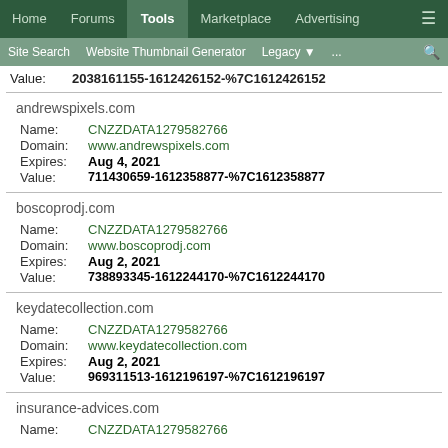Home | Forums | Tools | Marketplace | Advertising
Site Search | Website Thumbnail Generator | Legacy | ...
Value: 2038161155-1612426152-%7C1612426152
andrewspixels.com
Name: CNZZDATA1279582766
Domain: www.andrewspixels.com
Expires: Aug 4, 2021
Value: 711430659-1612358877-%7C1612358877
boscoprodj.com
Name: CNZZDATA1279582766
Domain: www.boscoprodj.com
Expires: Aug 2, 2021
Value: 738893345-1612244170-%7C1612244170
keydatecollection.com
Name: CNZZDATA1279582766
Domain: www.keydatecollection.com
Expires: Aug 2, 2021
Value: 969311513-1612196197-%7C1612196197
insurance-advices.com
Name: CNZZDATA1279582766